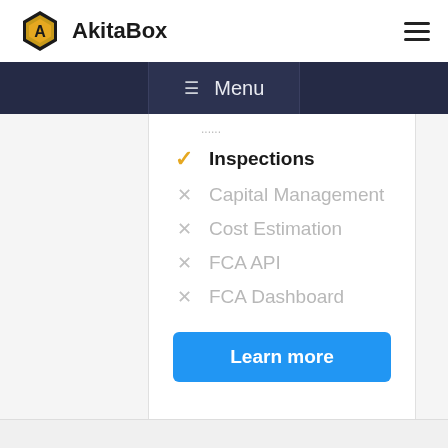[Figure (logo): AkitaBox logo: hexagon icon in black and gold with letter A inside, and bold text 'AkitaBox' beside it]
[Figure (screenshot): Hamburger menu icon (three horizontal lines) in top right corner]
☰ Menu
✓ Inspections
✕ Capital Management
✕ Cost Estimation
✕ FCA API
✕ FCA Dashboard
Learn more